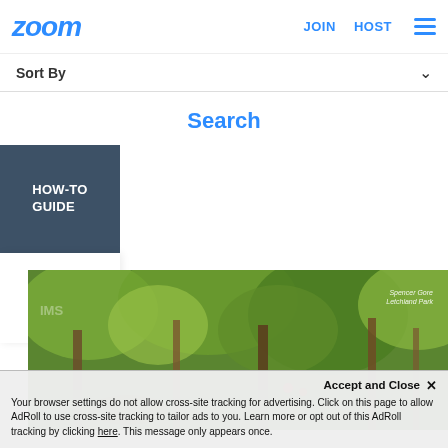zoom | JOIN | HOST | ☰
Sort By ∨
Search
HOW-TO GUIDE
[Figure (illustration): Blue search magnifying glass icon on white background]
[Figure (photo): Impressionist painting of trees in a park. Text overlay reads: Spencer Gore, Letchland Park]
Accept and Close ✕ Your browser settings do not allow cross-site tracking for advertising. Click on this page to allow AdRoll to use cross-site tracking to tailor ads to you. Learn more or opt out of this AdRoll tracking by clicking here. This message only appears once.